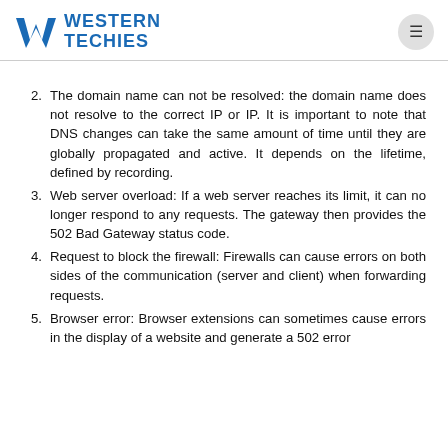Western Techies
2. The domain name can not be resolved: the domain name does not resolve to the correct IP or IP. It is important to note that DNS changes can take the same amount of time until they are globally propagated and active. It depends on the lifetime, defined by recording.
3. Web server overload: If a web server reaches its limit, it can no longer respond to any requests. The gateway then provides the 502 Bad Gateway status code.
4. Request to block the firewall: Firewalls can cause errors on both sides of the communication (server and client) when forwarding requests.
5. Browser error: Browser extensions can sometimes cause errors in the display of a website and generate a 502 error